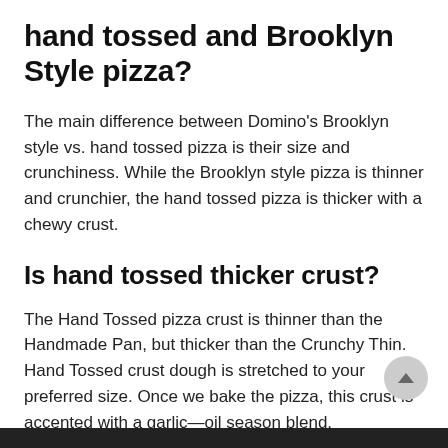hand tossed and Brooklyn Style pizza?
The main difference between Domino's Brooklyn style vs. hand tossed pizza is their size and crunchiness. While the Brooklyn style pizza is thinner and crunchier, the hand tossed pizza is thicker with a chewy crust.
Is hand tossed thicker crust?
The Hand Tossed pizza crust is thinner than the Handmade Pan, but thicker than the Crunchy Thin. Hand Tossed crust dough is stretched to your preferred size. Once we bake the pizza, this crust is accented with a garlic—oil season blend.